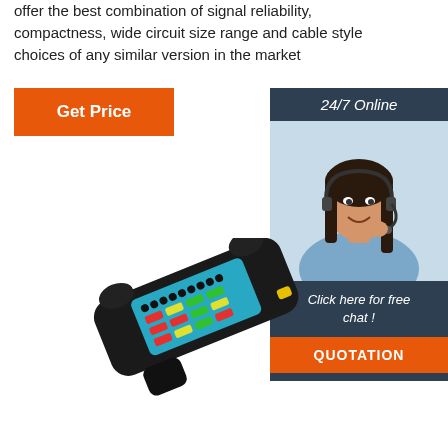offer the best combination of signal reliability, compactness, wide circuit size range and cable style choices of any similar version in the market
[Figure (other): Orange 'Get Price' button]
[Figure (photo): Customer service widget with '24/7 Online' header, photo of smiling woman with headset, 'Click here for free chat!' text, and orange 'QUOTATION' button]
[Figure (photo): Black handheld cable tester device with colorful LED indicator panel, angled view on white background]